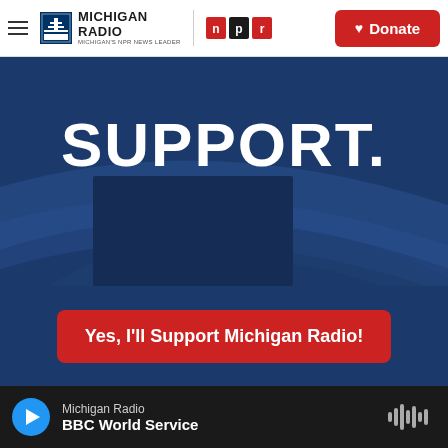Michigan Radio | NPR | Donate
[Figure (screenshot): Michigan Radio support banner with large white text 'SUPPORT.' on dark navy blue background with decorative arc shapes]
Yes, I'll Support Michigan Radio!
Related Content
[Figure (photo): Partial photo of indoor scene, appears to show a door and figure, related content thumbnail]
Michigan Radio | BBC World Service (audio player)